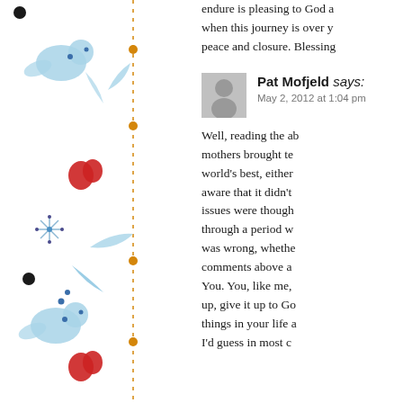[Figure (illustration): Decorative vertical botanical illustration with blue bird-like figures, red berries/hearts, black dots, small flowers, and blue leaves arranged along a vertical dashed orange/gold line on a white background.]
endure is pleasing to God a when this journey is over y peace and closure. Blessing
Pat Mofjeld says: May 2, 2012 at 1:04 pm
Well, reading the ab mothers brought te world's best, either aware that it didn't issues were though through a period w was wrong, whethe comments above a You. You, like me, up, give it up to Go things in your life a I'd guess in most c